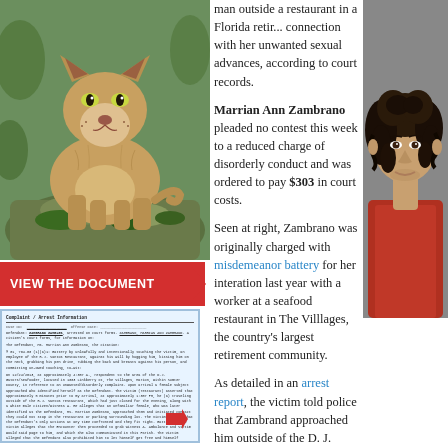[Figure (photo): A mountain lion (cougar/puma) crouching on a mossy rock, facing the camera.]
[Figure (infographic): Red banner reading VIEW THE DOCUMENT with a red arrow pointing to a preview of a legal/court document.]
man outside a restaurant in a Florida reti... connection with her unwanted sexual advances, according to court records.
Marrian Ann Zambrano pleaded no contest this week to a reduced charge of disorderly conduct and was ordered to pay $303 in court costs.
Seen at right, Zambrano was originally charged with misdemeanor battery for her interation last year with a worker at a seafood restaurant in The Villlages, the country's largest retirement community.
As detailed in an arrest report, the victim told police that Zambrano approached him outside of the D. J. Gator's...
[Figure (photo): Mugshot of a woman with curly dark hair wearing a red top.]